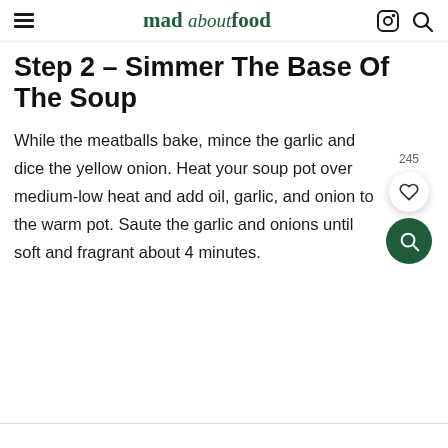mad about food
Step 2 – Simmer The Base Of The Soup
While the meatballs bake, mince the garlic and dice the yellow onion. Heat your soup pot over medium-low heat and add oil, garlic, and onion to the warm pot. Saute the garlic and onions until soft and fragrant about 4 minutes.